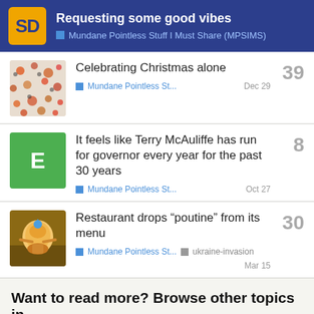Requesting some good vibes — Mundane Pointless Stuff I Must Share (MPSIMS)
Celebrating Christmas alone | Mundane Pointless St... | Dec 29 | 39
It feels like Terry McAuliffe has run for governor every year for the past 30 years | Mundane Pointless St... | Oct 27 | 8
Restaurant drops “poutine” from its menu | Mundane Pointless St... | ukraine-invasion | Mar 15 | 30
Want to read more? Browse other topics in Mundane Pointles... or view latest topics.
Welcome